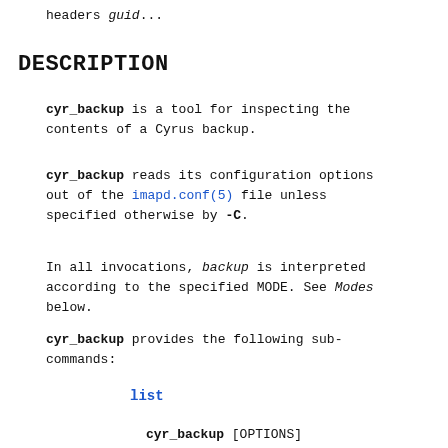headers guid...
DESCRIPTION
cyr_backup is a tool for inspecting the contents of a Cyrus backup.
cyr_backup reads its configuration options out of the imapd.conf(5) file unless specified otherwise by -C.
In all invocations, backup is interpreted according to the specified MODE. See Modes below.
cyr_backup provides the following sub-commands:
list
cyr_backup [OPTIONS]